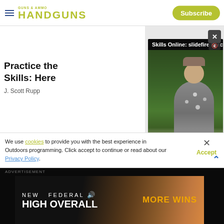HANDGUNS — Subscribe
[Figure (screenshot): Video player showing a man outdoors with trees in background. Title bar reads 'Skills Online: slidefire Practice Draw'. Controls show 00:00 / 02:01 timestamp. Mute button visible.]
Practice the Skills: Here
J. Scott Rupp
We use cookies to provide you with the best experience in Outdoors programming. Click accept to continue or read about our Privacy Policy.
[Figure (other): Federal 'HIGH OVERALL' advertisement banner with 'NEW FEDERAL' branding and 'MORE WINS' tagline on dark background with ammunition imagery]